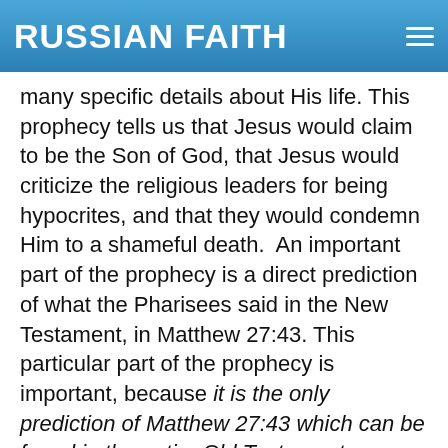RUSSIAN FAITH
many specific details about His life. This prophecy tells us that Jesus would claim to be the Son of God, that Jesus would criticize the religious leaders for being hypocrites, and that they would condemn Him to a shameful death.  An important part of the prophecy is a direct prediction of what the Pharisees said in the New Testament, in Matthew 27:43. This particular part of the prophecy is important, because it is the only prediction of Matthew 27:43 which can be found in the entire Old Testament.
But if you walk into most churches in America, and you check their Bibles, you will not find this prophecy anywhere.  It has been erased.